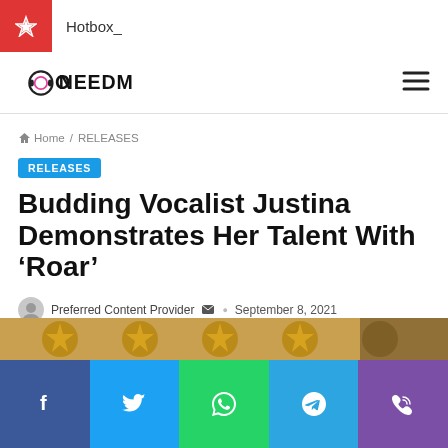Hotbox_
ONEEDM
Home / RELEASES
RELEASES
Budding Vocalist Justina Demonstrates Her Talent With ‘Roar’
Preferred Content Provider · September 8, 2021
1 minute read
[Figure (photo): Partial view of decorative image at bottom of article page, showing ornate golden/bronze star-shaped decorations and a figure in the far right]
Social share buttons: Facebook, Twitter, WhatsApp, Telegram, Phone